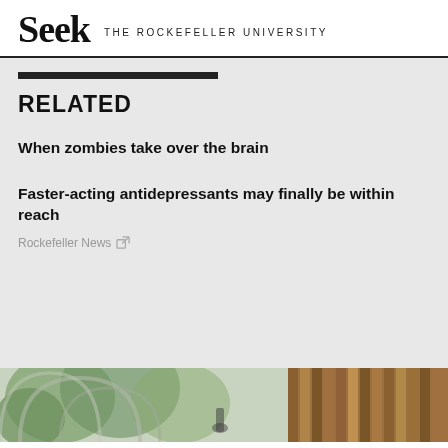Seek THE ROCKEFELLER UNIVERSITY
RELATED
When zombies take over the brain
Faster-acting antidepressants may finally be within reach
Rockefeller News
[Figure (photo): Partial view of a greenhouse or arched structure with green foliage, and wooden panel or furniture element on the right side.]